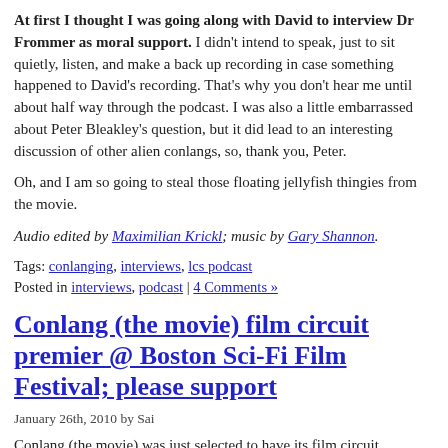At first I thought I was going along with David to interview Dr Frommer as moral support. I didn't intend to speak, just to sit quietly, listen, and make a back up recording in case something happened to David's recording. That's why you don't hear me until about half way through the podcast. I was also a little embarrassed about Peter Bleakley's question, but it did lead to an interesting discussion of other alien conlangs, so, thank you, Peter.
Oh, and I am so going to steal those floating jellyfish thingies from the movie.
Audio edited by Maximilian Krickl; music by Gary Shannon.
Tags: conlanging, interviews, lcs podcast
Posted in interviews, podcast | 4 Comments »
Conlang (the movie) film circuit premier @ Boston Sci-Fi Film Festival; please support
January 26th, 2010 by Sai
Conlang (the movie) was just selected to have its film circuit